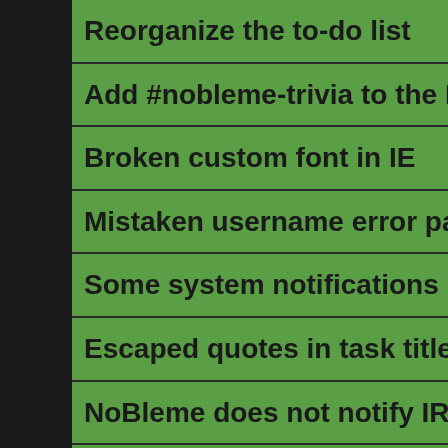Reorganize the to-do list
Add #nobleme-trivia to the IRC c
Broken custom font in IE
Mistaken username error page
Some system notifications need
Escaped quotes in task titles
NoBleme does not notify IRC of
Display nicknames when logged
Emojis don't work everywhere